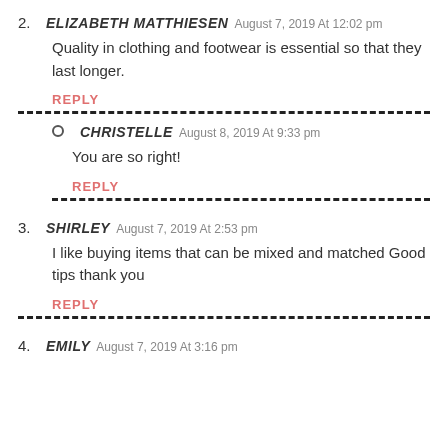2. ELIZABETH MATTHIESEN August 7, 2019 At 12:02 pm
Quality in clothing and footwear is essential so that they last longer.
REPLY
○ CHRISTELLE August 8, 2019 At 9:33 pm
You are so right!
REPLY
3. SHIRLEY August 7, 2019 At 2:53 pm
I like buying items that can be mixed and matched Good tips thank you
REPLY
4. EMILY August 7, 2019 At 3:16 pm